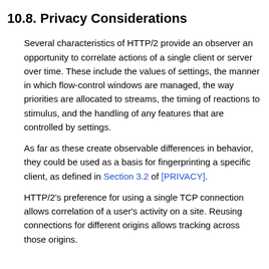10.8. Privacy Considerations
Several characteristics of HTTP/2 provide an observer an opportunity to correlate actions of a single client or server over time. These include the values of settings, the manner in which flow-control windows are managed, the way priorities are allocated to streams, the timing of reactions to stimulus, and the handling of any features that are controlled by settings.
As far as these create observable differences in behavior, they could be used as a basis for fingerprinting a specific client, as defined in Section 3.2 of [PRIVACY].
HTTP/2's preference for using a single TCP connection allows correlation of a user's activity on a site. Reusing connections for different origins allows tracking across those origins.